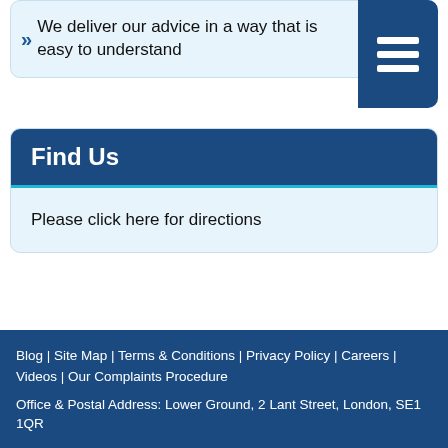We deliver our advice in a way that is easy to understand
Find Us
Please click here for directions
Blog | Site Map | Terms & Conditions | Privacy Policy | Careers | Videos | Our Complaints Procedure
Office & Postal Address: Lower Ground, 2 Lant Street, London, SE1 1QR